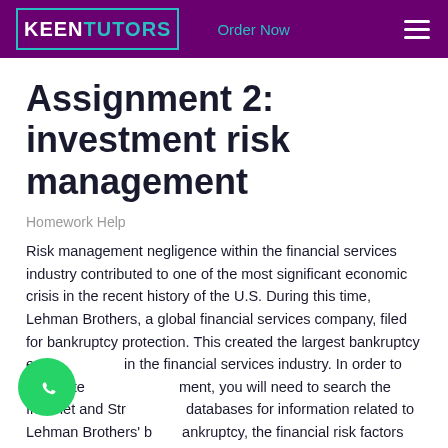KEENTUTORS   Order Now
Assignment 2: investment risk management
Homework Help
Risk management negligence within the financial services industry contributed to one of the most significant economic crisis in the recent history of the U.S. During this time, Lehman Brothers, a global financial services company, filed for bankruptcy protection. This created the largest bankruptcy ever in the financial services industry. In order to complete this assignment, you will need to search the Internet and Strayer databases for information related to Lehman Brothers' bankruptcy, the financial risk factors that contributed to the